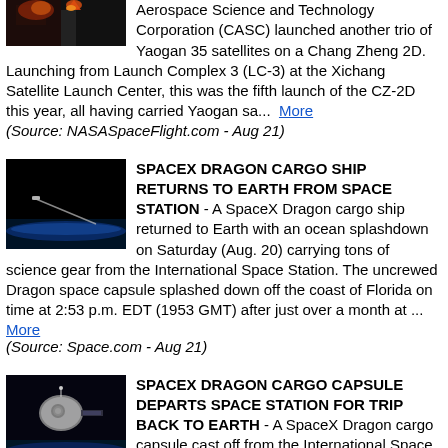[Figure (photo): Partial thumbnail of a rocket launch with fire/smoke, top-left of page]
Aerospace Science and Technology Corporation (CASC) launched another trio of Yaogan 35 satellites on a Chang Zheng 2D. Launching from Launch Complex 3 (LC-3) at the Xichang Satellite Launch Center, this was the fifth launch of the CZ-2D this year, all having carried Yaogan sa...  More
(Source: NASASpaceFlight.com - Aug 21)
[Figure (photo): Thumbnail of SpaceX Dragon cargo ship against black space with Earth's blue horizon]
SPACEX DRAGON CARGO SHIP RETURNS TO EARTH FROM SPACE STATION - A SpaceX Dragon cargo ship returned to Earth with an ocean splashdown on Saturday (Aug. 20) carrying tons of science gear from the International Space Station. The uncrewed Dragon space capsule splashed down off the coast of Florida on time at 2:53 p.m. EDT (1953 GMT) after just over a month at ... More
(Source: Space.com - Aug 21)
[Figure (photo): Thumbnail of SpaceX Dragon cargo capsule departing the International Space Station against dark space]
SPACEX DRAGON CARGO CAPSULE DEPARTS SPACE STATION FOR TRIP BACK TO EARTH - A SpaceX Dragon cargo capsule cast off from the International Space Station and began heading back to Earth on Friday (Aug. 19), setting the stage for a weekend splashdown. The uncrewed Dragon supply ship undocked from the International Space Station (ISS) at 11:05 a.m. EDT (1505 GMT) as both sp... More
(Source: Space.com - Aug 20)